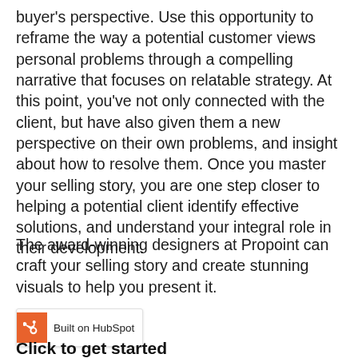buyer's perspective. Use this opportunity to reframe the way a potential customer views personal problems through a compelling narrative that focuses on relatable strategy. At this point, you've not only connected with the client, but have also given them a new perspective on their own problems, and insight about how to resolve them. Once you master your selling story, you are one step closer to helping a potential client identify effective solutions, and understand your integral role in their development.
The award-winning designers at Propoint can craft your selling story and create stunning visuals to help you present it.
Built on HubSpot
Click to get started